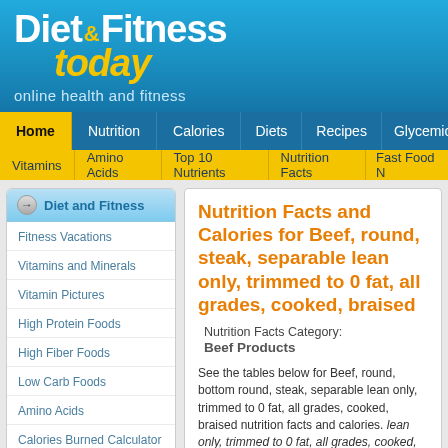Diet & Fitness today
online health and fitness
Home | Nutrition | Calories | Diets | Recipes | Glycemic | F
Vitamins | Amino Acids | Top 10 Nutrients | Nutrition Facts | Fast Food N
Diet and Fitness
Fitness Vacations
Vitamins and Minerals
Vitamin Pictures
High Protein Foods
High Fiber Foods
Low Carb Foods
Amino Acids
Calories Burned Calculator
Top 10 Nutrients
Nutrition Facts
Food sorted by nutrients
Nutrition Facts and Calories for Beef, round, steak, separable lean only, trimmed to 0 fat, all grades, cooked, braised
Nutrition Facts Category:
Beef Products
See the tables below for Beef, round, bottom round, steak, separable lean only, trimmed to 0 fat, all grades, cooked, braised nutrition facts and calories. lean only, trimmed to 0 fat, all grades, cooked, braised ... the box below and press 'rescale' for a different serving size. separable lean only, trimmed to 0 fat, all g